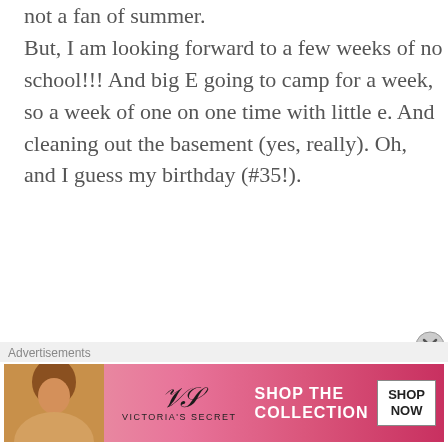not a fan of summer. But, I am looking forward to a few weeks of no school!!! And big E going to camp for a week, so a week of one on one time with little e. And cleaning out the basement (yes, really). Oh, and I guess my birthday (#35!).
★ Like
Reply
comehomeforcomfort
MAY 12, 2016 AT 12:17 PM
[Figure (photo): Round avatar photo of a person with short hair, framed in a dashed orange/red circle]
[Figure (photo): Victoria's Secret advertisement banner with model, VS logo, 'SHOP THE COLLECTION' text and 'SHOP NOW' button]
Advertisements